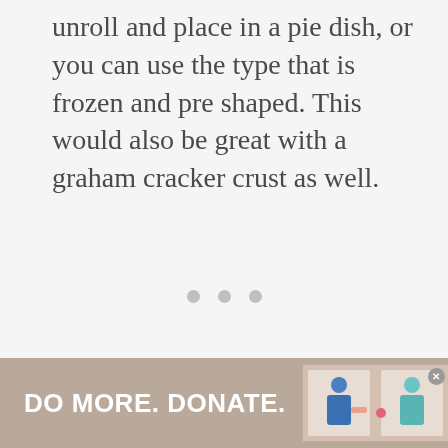unroll and place in a pie dish, or you can use the type that is frozen and pre shaped. This would also be great with a graham cracker crust as well.
[Figure (other): Three grey dots indicating a loading or pagination indicator]
[Figure (infographic): Advertisement banner with tan/brown background reading 'DO MORE. DONATE.' with an illustration of two people exchanging something through a window, a close button (x), and a 'w' logo mark]